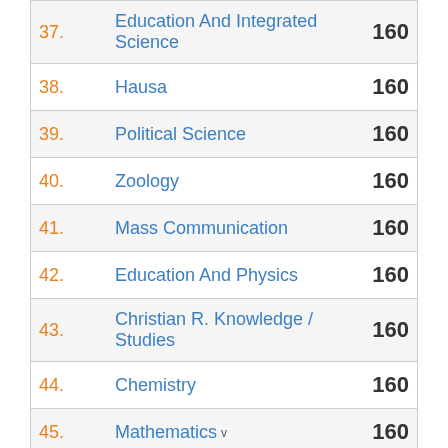| No. | Subject | Score |
| --- | --- | --- |
| 37. | Education And Integrated Science | 160 |
| 38. | Hausa | 160 |
| 39. | Political Science | 160 |
| 40. | Zoology | 160 |
| 41. | Mass Communication | 160 |
| 42. | Education And Physics | 160 |
| 43. | Christian R. Knowledge / Studies | 160 |
| 44. | Chemistry | 160 |
| 45. | Mathematics | 160 |
v